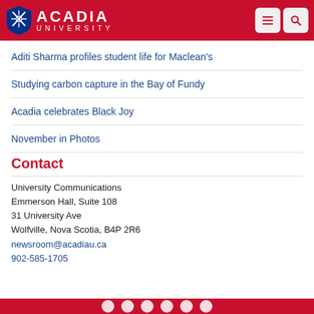[Figure (logo): Acadia University logo with shield and text on red header bar with menu and search icons]
Aditi Sharma profiles student life for Maclean's
Studying carbon capture in the Bay of Fundy
Acadia celebrates Black Joy
November in Photos
Contact
University Communications
Emmerson Hall, Suite 108
31 University Ave
Wolfville, Nova Scotia, B4P 2R6
newsroom@acadiau.ca
902-585-1705
Social media icons footer bar